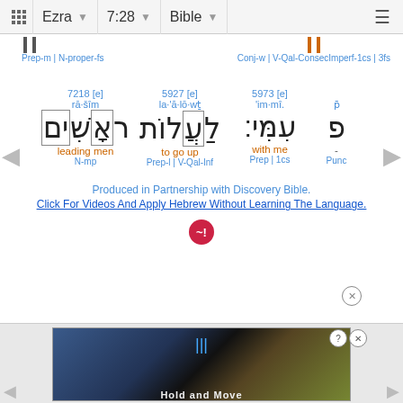Ezra  7:28  Bible
Prep-m | N-proper-fs    Conj-w | V-Qal-ConsecImperf-1cs | 3fs
[Figure (other): Hebrew interlinear word study showing: rā·šîm (7218[e]) = leading men (N-mp), la·'ă·lō·wṯ (5927[e]) = to go up (Prep-l | V-Qal-Inf), 'im·mî. (5973[e]) = with me (Prep | 1cs), punc (-)]
Produced in Partnership with Discovery Bible.
Click For Videos And Apply Hebrew Without Learning The Language.
[Figure (screenshot): Advertisement banner showing a game or app with 'Hold and Move' text]